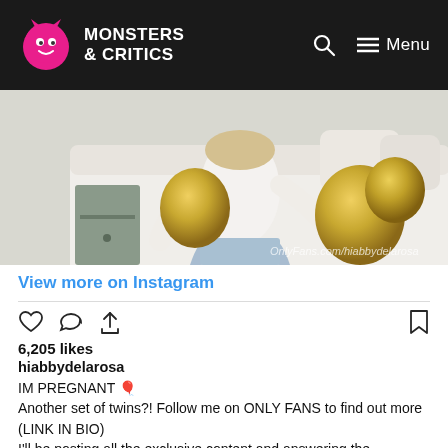MONSTERS & CRITICS
[Figure (photo): Person sitting on a bed wearing white long-sleeve top and light blue jeans, surrounded by gold metallic balloons. Watermark reads OnlyFans.com/hiabbydelarosa]
View more on Instagram
6,205 likes
hiabbydelarosa
IM PREGNANT 🎈
Another set of twins?! Follow me on ONLY FANS to find out more (LINK IN BIO)
I'll be posting all the exclusive content and answering the questions ya'll are dying to know!